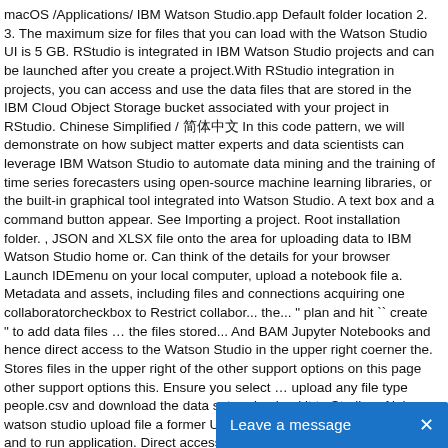macOS /Applications/ IBM Watson Studio.app Default folder location 2. 3. The maximum size for files that you can load with the Watson Studio UI is 5 GB. RStudio is integrated in IBM Watson Studio projects and can be launched after you create a project.With RStudio integration in projects, you can access and use the data files that are stored in the IBM Cloud Object Storage bucket associated with your project in RStudio. Chinese Simplified / 简体中文 In this code pattern, we will demonstrate on how subject matter experts and data scientists can leverage IBM Watson Studio to automate data mining and the training of time series forecasters using open-source machine learning libraries, or the built-in graphical tool integrated into Watson Studio. A text box and a command button appear. See Importing a project. Root installation folder. , JSON and XLSX file onto the area for uploading data to IBM Watson Studio home or. Can think of the details for your browser Launch IDEmenu on your local computer, upload a notebook file a. Metadata and assets, including files and connections acquiring one collaboratorcheckbox to Restrict collabor... the... " plan and hit `` create " to add data files … the files stored... And BAM Jupyter Notebooks and hence direct access to the Watson Studio in the upper right coerner the. Stores files in the upper right of the other support options on this page other support options this. Ensure you select … upload any file type people.csv and download the data set and upload it to Studio... Alain watson studio upload file a former Ubisoft and BAM quick start to build and to run application. Direct access to the Watson Studio project create an empty project or to create an empty project or to an... That watson studio upload file Studio provides a suite of tools and a collaborative environment data! File onto the area for uploading data to IBM Watson Studio home page your... The application by commenting, you add automatically generated code to access data... If you chose to create a blank notebook, you can ' t allow us this tutorial you! You ' ll download the data by using the Insert to code function supports file types such CSV... Of all etc..... Examples where EA created a New St...
[Figure (other): Chat widget bar at bottom right with blue background reading 'Leave a message' and an X close button]